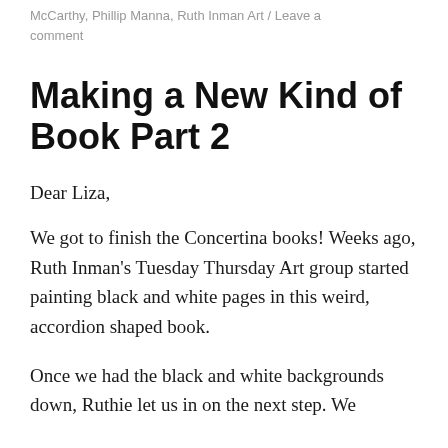McCarthy, Phillip Manna, Ruth Inman Art / Leave a comment
Making a New Kind of Book Part 2
Dear Liza,
We got to finish the Concertina books! Weeks ago, Ruth Inman's Tuesday Thursday Art group started painting black and white pages in this weird, accordion shaped book.
Once we had the black and white backgrounds down, Ruthie let us in on the next step. We